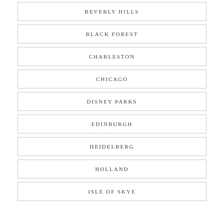BEVERLY HILLS
BLACK FOREST
CHARLESTON
CHICAGO
DISNEY PARKS
EDINBURGH
HEIDELBERG
HOLLAND
ISLE OF SKYE